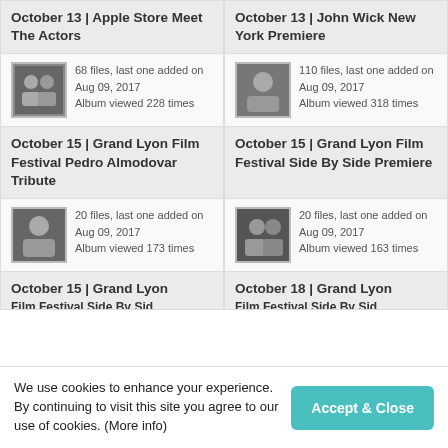October 13 | Apple Store Meet The Actors
October 13 | John Wick New York Premiere
68 files, last one added on Aug 09, 2017
Album viewed 228 times
110 files, last one added on Aug 09, 2017
Album viewed 318 times
October 15 | Grand Lyon Film Festival Pedro Almodovar Tribute
October 15 | Grand Lyon Film Festival Side By Side Premiere
20 files, last one added on Aug 09, 2017
Album viewed 173 times
20 files, last one added on Aug 09, 2017
Album viewed 163 times
October 15 | Grand Lyon Film Festival Side By Sid…
October 18 | Grand Lyon Film Festival Side By Sid…
We use cookies to enhance your experience. By continuing to visit this site you agree to our use of cookies. (More info)